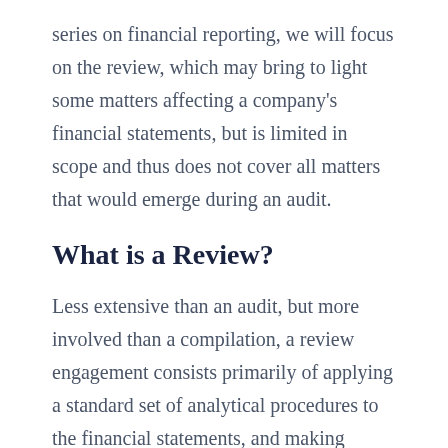series on financial reporting, we will focus on the review, which may bring to light some matters affecting a company's financial statements, but is limited in scope and thus does not cover all matters that would emerge during an audit.
What is a Review?
Less extensive than an audit, but more involved than a compilation, a review engagement consists primarily of applying a standard set of analytical procedures to the financial statements, and making various inquiries of your company's management team. If the financial statements or supporting information appear